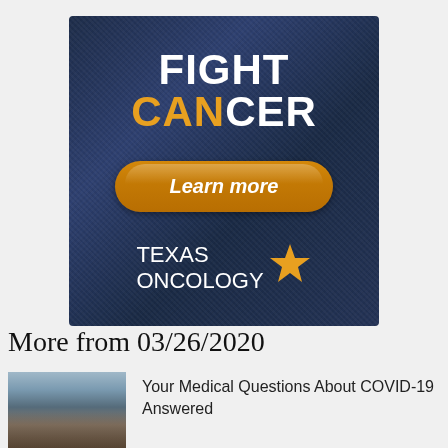[Figure (illustration): Texas Oncology advertisement banner with dark blue denim texture background. Large text reads 'FIGHT CANCER' with 'FIGHT' in white and 'CANCER' in gold/orange. Below is a golden pill-shaped button with 'Learn more' text. At the bottom is the Texas Oncology logo with a gold star and white text.]
More from 03/26/2020
[Figure (photo): Thumbnail photo showing people at what appears to be an outdoor market or street scene.]
Your Medical Questions About COVID-19 Answered